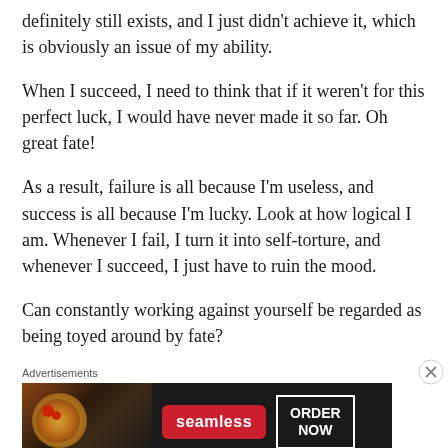definitely still exists, and I just didn't achieve it, which is obviously an issue of my ability.
When I succeed, I need to think that if it weren't for this perfect luck, I would have never made it so far. Oh great fate!
As a result, failure is all because I'm useless, and success is all because I'm lucky. Look at how logical I am. Whenever I fail, I turn it into self-torture, and whenever I succeed, I just have to ruin the mood.
Can constantly working against yourself be regarded as being toyed around by fate?
Advertisements
[Figure (other): Seamless food delivery advertisement banner with pizza image, red Seamless logo badge, and ORDER NOW button in white border box on dark background]